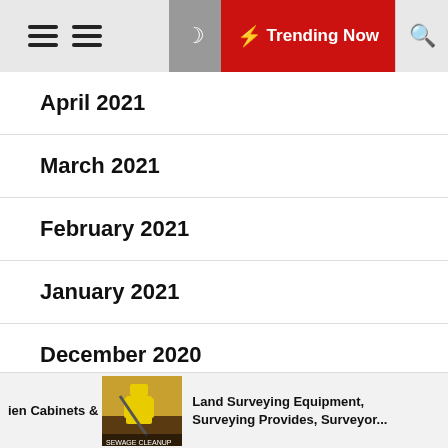Trending Now
April 2021
March 2021
February 2021
January 2021
December 2020
November 2020
October 2020
ien Cabinets &
[Figure (photo): Photo of sewage cleanup worker in yellow protective gear]
Land Surveying Equipment, Surveying Provides, Surveyor...